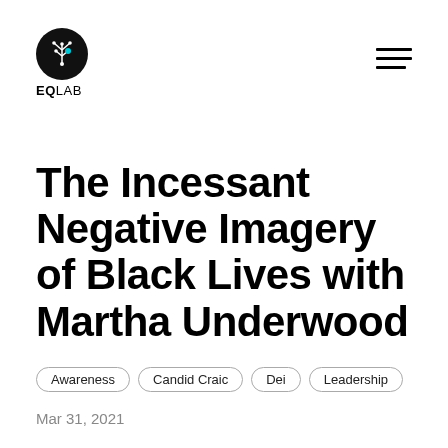EQLAB
The Incessant Negative Imagery of Black Lives with Martha Underwood
Awareness
Candid Craic
Dei
Leadership
Mar 31, 2021